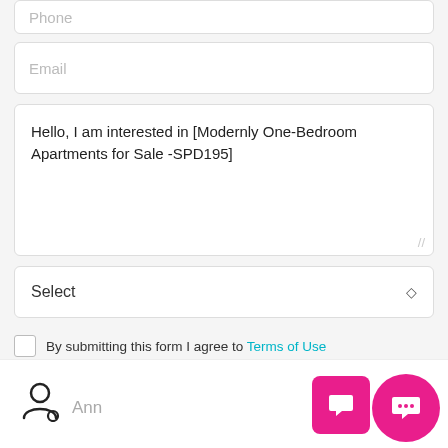[Figure (screenshot): Mobile app contact form showing partially visible Phone input field at top, Email input field, a textarea pre-filled with 'Hello, I am interested in [Modernly One-Bedroom Apartments for Sale -SPD195]', a Select dropdown, a checkbox with Terms of Use agreement text, a Send Message button in pink/magenta, and a bottom navigation bar with user icon, 'Ann' label, and chat/messaging icons on the right.]